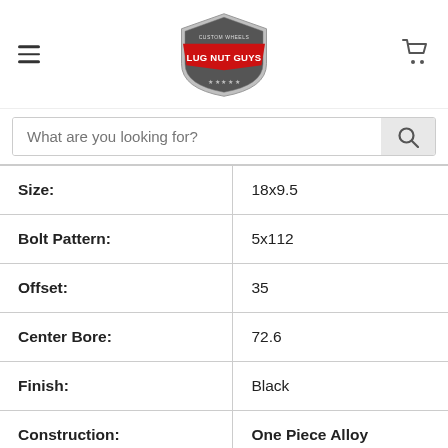Lug Nut Guys - Custom Wheels
What are you looking for?
| Property | Value |
| --- | --- |
| Size: | 18x9.5 |
| Bolt Pattern: | 5x112 |
| Offset: | 35 |
| Center Bore: | 72.6 |
| Finish: | Black |
| Construction: | One Piece Alloy |